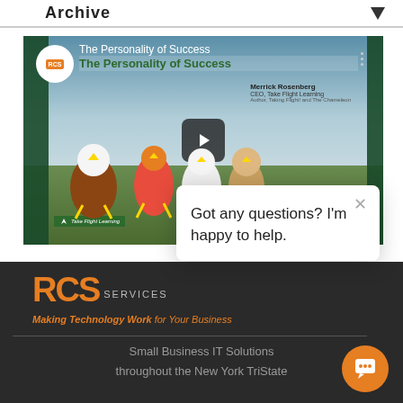Archive
[Figure (screenshot): Video thumbnail for 'The Personality of Success' webinar featuring Merrick Rosenberg, CEO of Take Flight Learning, with bird character illustrations and a play button overlay.]
Got any questions? I'm happy to help.
[Figure (logo): RCS Services logo with orange letters 'RCS' and grey 'SERVICES' text]
Making Technology Work for Your Business
Small Business IT Solutions
throughout the New York TriState